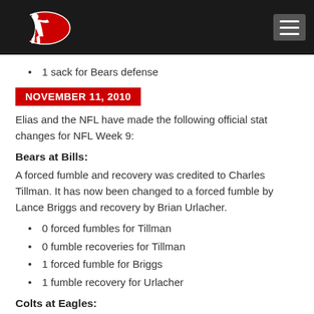[Logo] RotoWorld navigation header
1 sack for Bears defense
NOVEMBER 11, 2010
Elias and the NFL have made the following official stat changes for NFL Week 9:
Bears at Bills:
A forced fumble and recovery was credited to Charles Tillman. It has now been changed to a forced fumble by Lance Briggs and recovery by Brian Urlacher.
0 forced fumbles for Tillman
0 fumble recoveries for Tillman
1 forced fumble for Briggs
1 fumble recovery for Urlacher
Colts at Eagles:
Peyton Manning's total pass attempts have been reduced by one to correct for an accepted penalty. Yards and completions for Manning are unaffected.
51 pass attempts for Manning